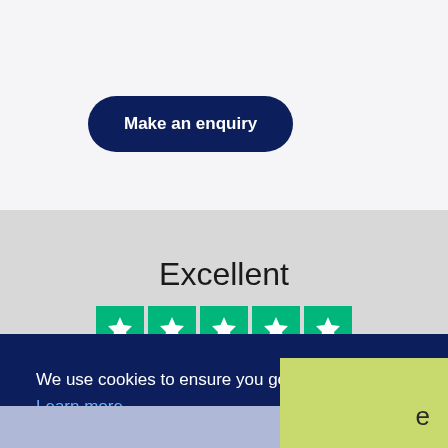Make an enquiry
Excellent
[Figure (illustration): Five green Trustpilot star rating boxes in a row]
We use cookies to ensure you get the best experience on our website. Learn more
Ok